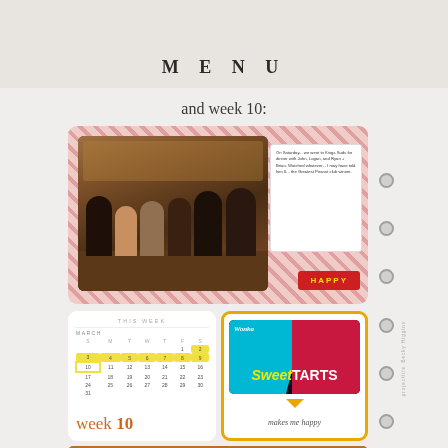MENU
and week 10:
[Figure (photo): Scrapbook layout showing week 10. Top: photo of group of people dining at a restaurant table with warm lighting, overlaid on a red diagonal-striped background card, with a handwritten note card and a red 'HAPPY' badge. Bottom left: white calendar card showing March week 10 with yellow highlights, labeled 'THIS WEEK' and 'week 10'. Bottom right: white card with gold border featuring a Wonka SweeTARTS candy wrapper image and text 'makes me happy'. Partial banner at bottom reading '14 WEEKS'.]